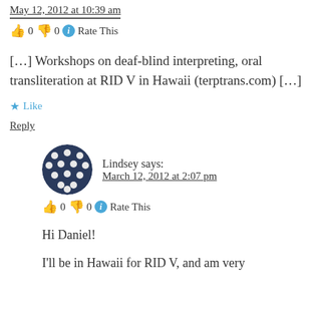May 12, 2012 at 10:39 am
👍 0 👎 0 ℹ Rate This
[…] Workshops on deaf-blind interpreting, oral transliteration at RID V in Hawaii (terptrans.com) […]
★ Like
Reply
Lindsey says:
March 12, 2012 at 2:07 pm
👍 0 👎 0 ℹ Rate This
Hi Daniel!
I'll be in Hawaii for RID V, and am very